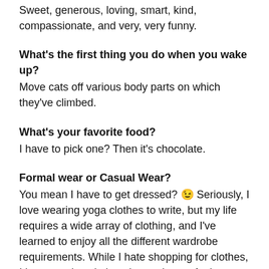Sweet, generous, loving, smart, kind, compassionate, and very, very funny.
What's the first thing you do when you wake up?
Move cats off various body parts on which they've climbed.
What's your favorite food?
I have to pick one? Then it's chocolate.
Formal wear or Casual Wear?
You mean I have to get dressed? 😉 Seriously, I love wearing yoga clothes to write, but my life requires a wide array of clothing, and I've learned to enjoy all the different wardrobe requirements. While I hate shopping for clothes, I love wearing clothes that make me feel great. And I've culled everything from my closet that doesn't.